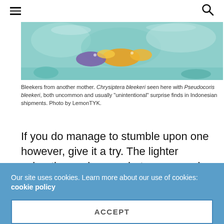Navigation and search icons
[Figure (photo): Underwater photo showing Chrysiptera bleekeri with Pseudocoris bleekeri fish, colorful reef fish with yellow and other colors visible]
Bleekers from another mother. Chrysiptera bleekeri seen here with Pseudocoris bleekeri, both uncommon and usually “unintentional” surprise finds in Indonesian shipments. Photo by LemonTYK.
If you do manage to stumble upon one however, give it a try. The lighter coloration and somewhat more passive temperament makes this rare damselfish a worthy candidate for a reef tank. The purple and yellow colour combination is somewhat similar to Chrysiptera traceyi from the Marshall Islands, and although unrelated, is also a good damselfish to have in a tank.
Our site uses cookies. Learn more about our use of cookies: cookie policy
ACCEPT